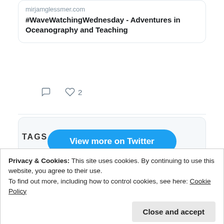mirjamglessmer.com
#WaveWatchingWednesday - Adventures in Oceanography and Teaching
2
View more on Twitter
Learn more about privacy on Twitter
TAGS
Privacy & Cookies: This site uses cookies. By continuing to use this website, you agree to their use.
To find out more, including how to control cookies, see here: Cookie Policy
Close and accept
internal waves JuniorAkademie Kiel fjord